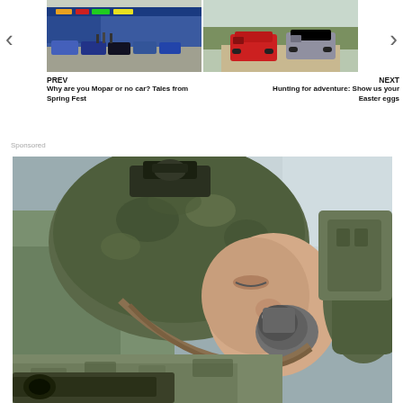[Figure (photo): Navigation carousel with two automotive photos: left shows cars at an outdoor dealership/event with colorful signage, right shows two Jeep Renegades (red and gray) on a dirt road in a forested area]
PREV
Why are you Mopar or no car? Tales from Spring Fest
NEXT
Hunting for adventure: Show us your Easter eggs
Sponsored
[Figure (photo): A soldier in full combat gear including camouflage helmet with night-vision mount and tactical gloves drinking from a water bottle/canteen, photographed in close-up from the side]